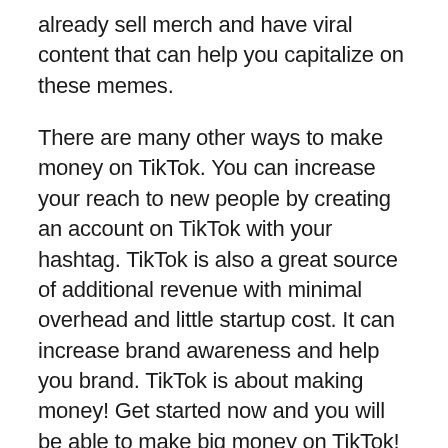already sell merch and have viral content that can help you capitalize on these memes.
There are many other ways to make money on TikTok. You can increase your reach to new people by creating an account on TikTok with your hashtag. TikTok is also a great source of additional revenue with minimal overhead and little startup cost. It can increase brand awareness and help you brand. TikTok is about making money! Get started now and you will be able to make big money on TikTok! Here are some ways to become a TikTok Influencer.
If you already have a YouTube channel, you can link your YouTube account to your TikTok profile. You can sell merchandise using the link once in your profile. Creating a Shopify store on